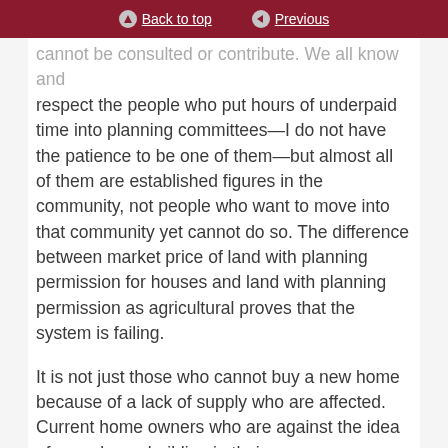Back to top  Previous
cannot be consulted or contribute. We all know and respect the people who put hours of underpaid time into planning committees—I do not have the patience to be one of them—but almost all of them are established figures in the community, not people who want to move into that community yet cannot do so. The difference between market price of land with planning permission for houses and land with planning permission as agricultural proves that the system is failing.
It is not just those who cannot buy a new home because of a lack of supply who are affected. Current home owners who are against the idea of more housebuilding in their own area are affected, too, as they do not receive compensation when